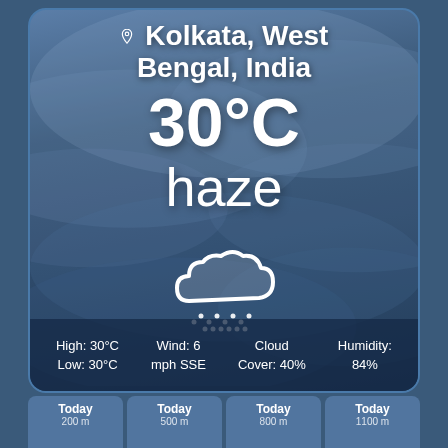Kolkata, West Bengal, India
30°C
haze
[Figure (illustration): Weather icon: cloud with rain/drizzle drops below, white outline style on hazy cloudy blue background]
High: 30°C
Low: 30°C
Wind: 6 mph SSE
Cloud Cover: 40%
Humidity: 84%
Today
200 m
Today
500 m
Today
800 m
Today
1100 m